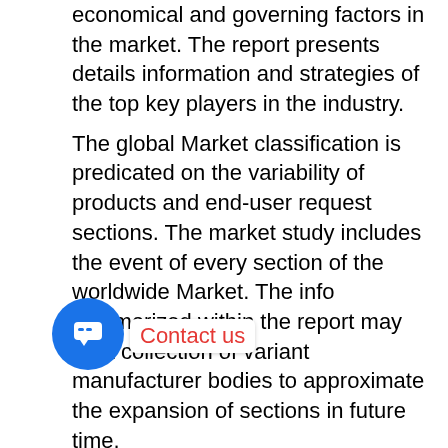economical and governing factors in the market. The report presents details information and strategies of the top key players in the industry.
The global Market classification is predicated on the variability of products and end-user request sections. The market study includes the event of every section of the worldwide Market. The info summarized within the report may be a collection of variant manufacturer bodies to approximate the expansion of sections in future time.
Qualitative, Quantitative, Forecasting and in-depth analysis for the market will be provided on a global, regional, and country-level for the following years:
Historical data- 2016 to 2018
The base year for estimation- 2019
Forecast data- 2020 to 2028
Our Research covers Competitors:
1- Company Profile